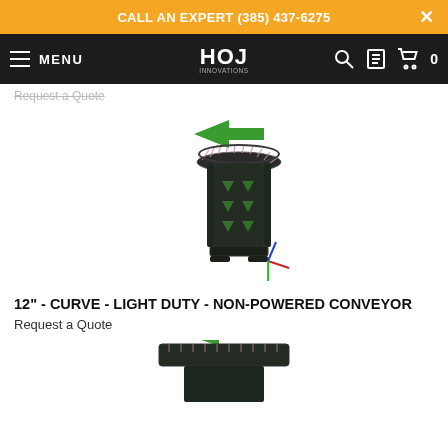CALL AN EXPERT (385) 437-6275
HOJ MENU
Request a Quote
[Figure (illustration): 3D render of a 12-inch curve light duty non-powered conveyor unit, shown vertically with a green arrow pointing left at the top, dark metal cylindrical body with triangular fins, and colored axis indicators (red, green, blue) at the base.]
12" - CURVE - LIGHT DUTY - NON-POWERED CONVEYOR
Request a Quote
[Figure (illustration): Partial 3D render of a second conveyor unit at the bottom of the page, showing the top portion with a green arrow and dark body, cropped.]